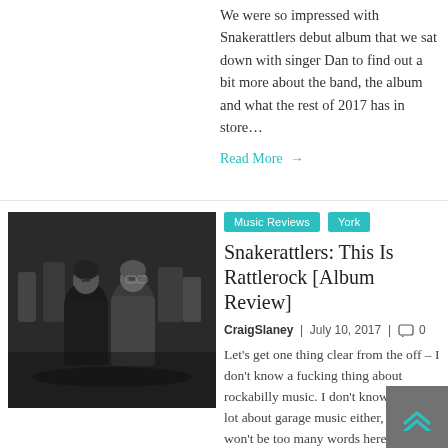We were so impressed with Snakerattlers debut album that we sat down with singer Dan to find out a bit more about the band, the album and what the rest of 2017 has in store…
Read More →
[Figure (photo): Black and white photo of two young people standing together in what appears to be a dark setting]
Music Reviews   York
Snakerattlers: This Is Rattlerock [Album Review]
CraigSlaney | July 10, 2017 | 🗨 0
Let's get one thing clear from the off – I don't know a fucking thing about rockabilly music. I don't know a right lot about garage music either, so there won't be too many words here…